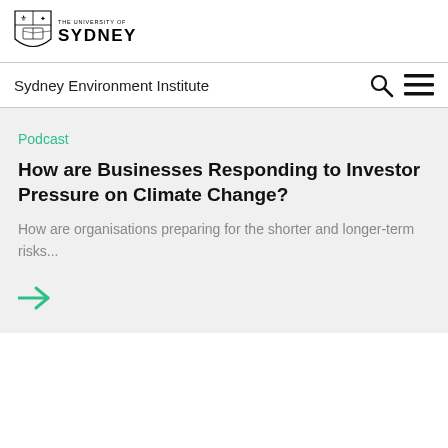[Figure (logo): University of Sydney logo with shield crest and text 'THE UNIVERSITY OF SYDNEY']
Sydney Environment Institute
Podcast
How are Businesses Responding to Investor Pressure on Climate Change?
How are organisations preparing for the shorter and longer-term risks...